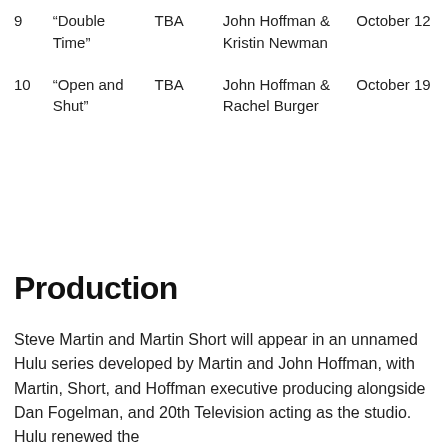| # | Title | Directed by | Written by | Air date |
| --- | --- | --- | --- | --- |
| 9 | “Double Time” | TBA | John Hoffman & Kristin Newman | October 12 |
| 10 | “Open and Shut” | TBA | John Hoffman & Rachel Burger | October 19 |
Production
Steve Martin and Martin Short will appear in an unnamed Hulu series developed by Martin and John Hoffman, with Martin, Short, and Hoffman executive producing alongside Dan Fogelman, and 20th Television acting as the studio. Hulu renewed the